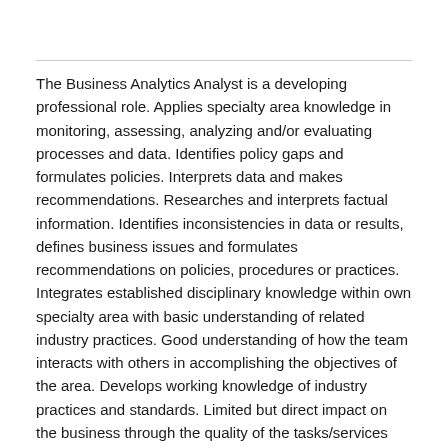The Business Analytics Analyst is a developing professional role. Applies specialty area knowledge in monitoring, assessing, analyzing and/or evaluating processes and data. Identifies policy gaps and formulates policies. Interprets data and makes recommendations. Researches and interprets factual information. Identifies inconsistencies in data or results, defines business issues and formulates recommendations on policies, procedures or practices. Integrates established disciplinary knowledge within own specialty area with basic understanding of related industry practices. Good understanding of how the team interacts with others in accomplishing the objectives of the area. Develops working knowledge of industry practices and standards. Limited but direct impact on the business through the quality of the tasks/services provided. Impact of the job holder is restricted to own team.